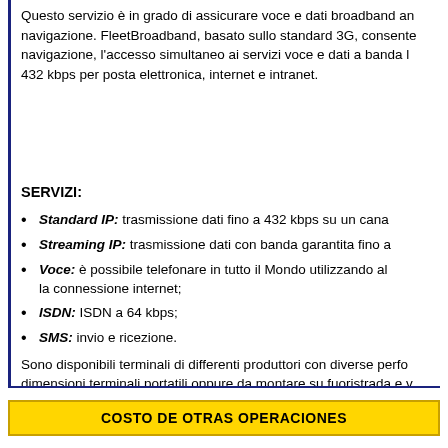Questo servizio è in grado di assicurare voce e dati broadband an navigazione. FleetBroadband, basato sullo standard 3G, consente navigazione, l'accesso simultaneo ai servizi voce e dati a banda l 432 kbps per posta elettronica, internet e intranet.
SERVIZI:
Standard IP: trasmissione dati fino a 432 kbps su un cana
Streaming IP: trasmissione dati con banda garantita fino a
Voce: è possibile telefonare in tutto il Mondo utilizzando al la connessione internet;
ISDN: ISDN a 64 kbps;
SMS: invio e ricezione.
Sono disponibili terminali di differenti produttori con diverse perfo dimensioni terminali portatili oppure da montare su fuoristrada e v
COSTO DE OTRAS OPERACIONES